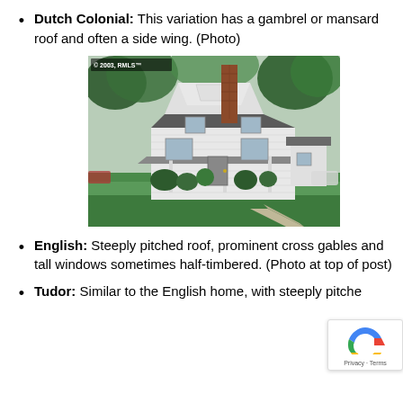Dutch Colonial: This variation has a gambrel or mansard roof and often a side wing. (Photo)
[Figure (photo): Photograph of a Dutch Colonial style house with gambrel roof, white siding, brick chimney, front porch, and lush green lawn. Copyright watermark reads: © 2003, RMLS™]
English: Steeply pitched roof, prominent cross gables and tall windows sometimes half-timbered. (Photo at top of post)
Tudor: Similar to the English home, with steeply pitched